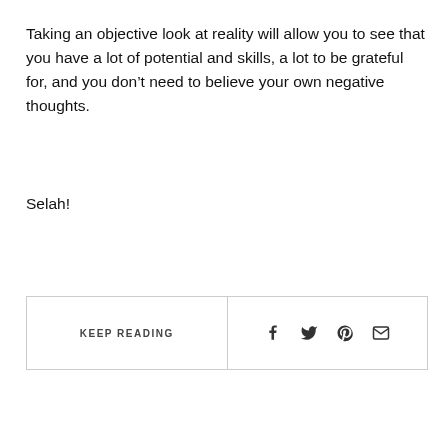Taking an objective look at reality will allow you to see that you have a lot of potential and skills, a lot to be grateful for, and you don't need to believe your own negative thoughts.
Selah!
KEEP READING | [facebook] [twitter] [pinterest] [email]